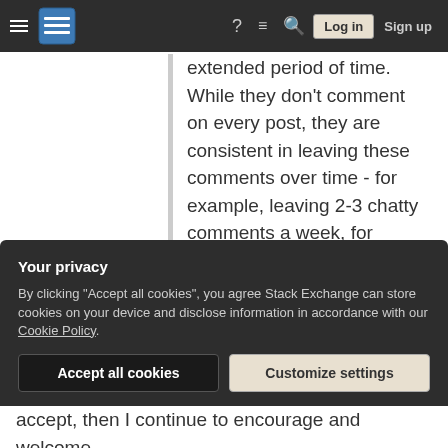Stack Exchange navigation bar with hamburger menu, logo, help, chat, search icons, Log in and Sign up buttons
extended period of time. While they don't comment on every post, they are consistent in leaving these comments over time - for example, leaving 2-3 chatty comments a week, for weeks on end. How do you approach this situation?
I would start by deleting the chatty comments silently, because comments are not made to be entirely permanent if no helpful information is asked
Your privacy
By clicking "Accept all cookies", you agree Stack Exchange can store cookies on your device and disclose information in accordance with our Cookie Policy.
Accept all cookies   Customize settings
accept, then I continue to encourage and welcome